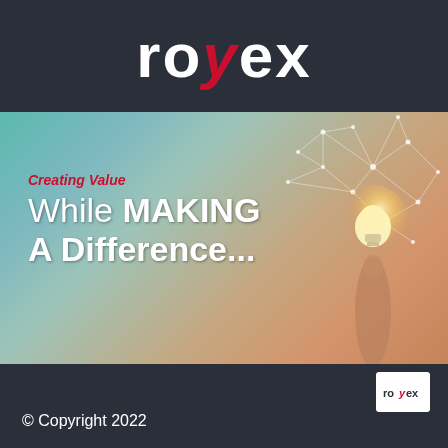[Figure (logo): Royex company logo in white text on dark navy background. The letter Y is rendered in red italic style. Text reads 'royex'.]
[Figure (photo): Hero image showing a hand holding a glowing light bulb with digital network/geometric web overlay against a teal-to-warm gradient background. Text overlaid reads 'Creating Value' in red italic, and 'While MAKING A Difference...' in white bold text.]
© Copyright 2022